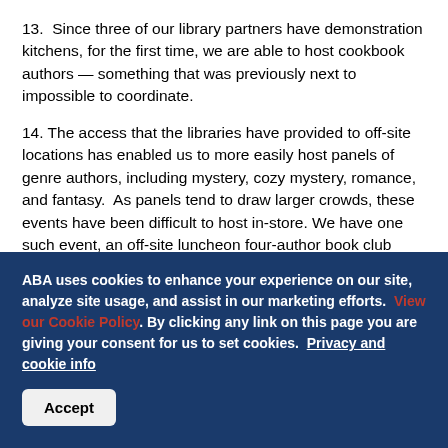13.  Since three of our library partners have demonstration kitchens, for the first time, we are able to host cookbook authors — something that was previously next to impossible to coordinate.
14. The access that the libraries have provided to off-site locations has enabled us to more easily host panels of genre authors, including mystery, cozy mystery, romance, and fantasy. As panels tend to draw larger crowds, these events have been difficult to host in-store. We have one such event, an off-site luncheon four-author book club panel, planned for this October.
ABA uses cookies to enhance your experience on our site, analyze site usage, and assist in our marketing efforts. View our Cookie Policy. By clicking any link on this page you are giving your consent for us to set cookies. Privacy and cookie info